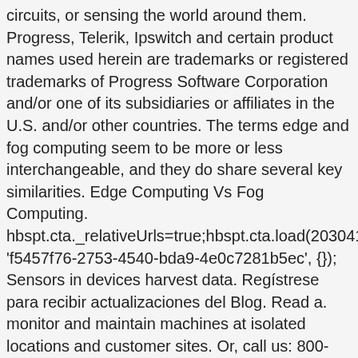circuits, or sensing the world around them. Progress, Telerik, Ipswitch and certain product names used herein are trademarks or registered trademarks of Progress Software Corporation and/or one of its subsidiaries or affiliates in the U.S. and/or other countries. The terms edge and fog computing seem to be more or less interchangeable, and they do share several key similarities. Edge Computing Vs Fog Computing. hbspt.cta._relativeUrls=true;hbspt.cta.load(2030419, 'f5457f76-2753-4540-bda9-4e0c7281b5ec', {}); Sensors in devices harvest data. Regístrese para recibir actualizaciones del Blog. Read a. monitor and maintain machines at isolated locations and customer sites. Or, call us: 800-321-6786 (toll-free in the U.S. and Canada) or +1-951-695-3000, © 2020 Opto22 Terms and Conditions | Privacy, (800) 321 OPTO (6786) | 43044 Business Park Drive, Temecula CA 92590 USA. Securely store, process, and communicate their data with databases, cloud services, and other systems. In addition to traditional server racks, edge computing can take place on smaller pieces of hardware like routers or WiFi